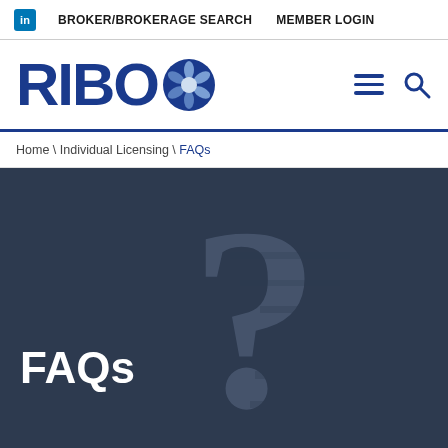in  BROKER/BROKERAGE SEARCH  MEMBER LOGIN
[Figure (logo): RIBO logo with flower emblem, hamburger menu icon and search icon]
Home \ Individual Licensing \ FAQs
[Figure (illustration): Dark navy hero banner with large faded question mark illustration and FAQs title text in white]
FAQs